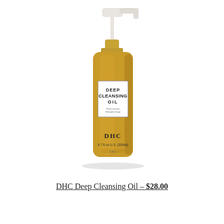[Figure (photo): DHC Deep Cleansing Oil product bottle with white pump dispenser. The bottle is filled with golden/amber colored oil and has a white label reading DEEP CLEANSING OIL with DHC branding and 6.7 fl oz U.S. (200ml) text.]
DHC Deep Cleansing Oil – $28.00